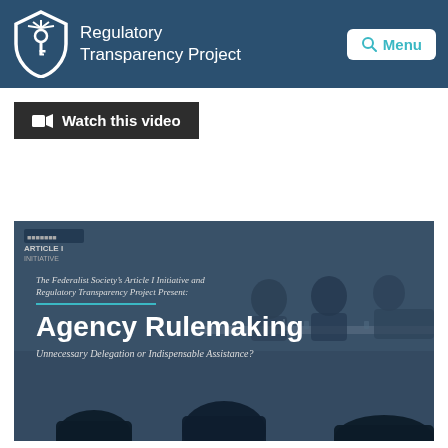Regulatory Transparency Project
Watch this video
[Figure (photo): Panel discussion photo with overlay text: 'The Federalist Society's Article I Initiative and Regulatory Transparency Project Present: Agency Rulemaking — Unnecessary Delegation or Indispensable Assistance?' Shows audience silhouettes in foreground and panelists at table in background, tinted blue-grey.]